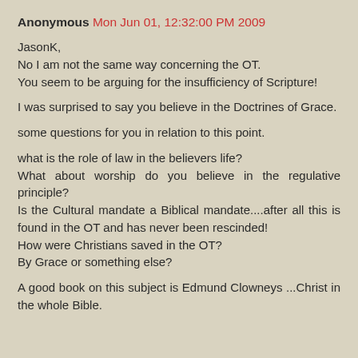Anonymous  Mon Jun 01, 12:32:00 PM 2009
JasonK,
No I am not the same way concerning the OT.
You seem to be arguing for the insufficiency of Scripture!

I was surprised to say you believe in the Doctrines of Grace.

some questions for you in relation to this point.

what is the role of law in the believers life?
What about worship do you believe in the regulative principle?
Is the Cultural mandate a Biblical mandate....after all this is found in the OT and has never been rescinded!
How were Christians saved in the OT?
By Grace or something else?


A good book on this subject is Edmund Clowneys ...Christ in the whole Bible.